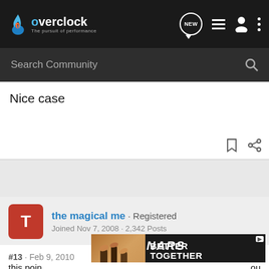overclock · The pursuit of performance
Search Community
Nice case
the magical me · Registered
Joined Nov 7, 2008 · 2,342 Posts
#13 · Feb 9, 2010
what's the max FSB that your motherboard can handle with RAM ???
this poin... ou
[Figure (screenshot): NARS advertisement banner: BETTER TOGETHER SHOP NOW]